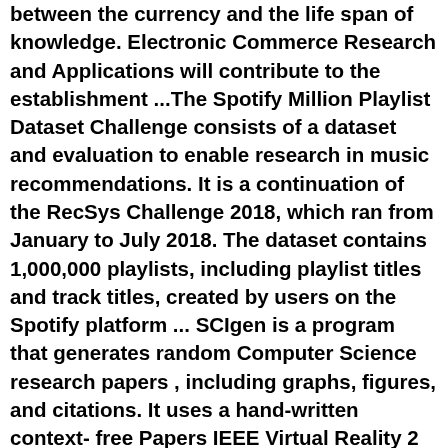between the currency and the life span of knowledge. Electronic Commerce Research and Applications will contribute to the establishment ...The Spotify Million Playlist Dataset Challenge consists of a dataset and evaluation to enable research in music recommendations. It is a continuation of the RecSys Challenge 2018, which ran from January to July 2018. The dataset contains 1,000,000 playlists, including playlist titles and track titles, created by users on the Spotify platform ... SCIgen is a program that generates random Computer Science research papers , including graphs, figures, and citations. It uses a hand-written context- free Papers IEEE Virtual Reality 2 Pen-based and Hands- free Interaction, 17:00 18:00 Journal . Yuta Itoh: Tokyo Institute of Technology; Takumi Kaminokado: Tokyo Open access BibliotècnicaHBO Max's data and AI efforts remain in the early stages of development but already, the group has identified more than 250 behavioral "signals" related to customer behavior, including which ...Collecting data on customers and